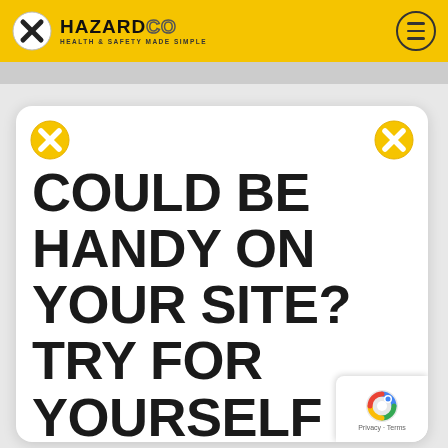HAZARDCO - HEALTH & SAFETY MADE SIMPLE
[Figure (screenshot): HazardCo logo with yellow warning X icon and company name with tagline 'Health & Safety Made Simple', plus hamburger menu icon on the right]
COULD BE HANDY ON YOUR SITE? TRY FOR YOURSELF & FIND OUT